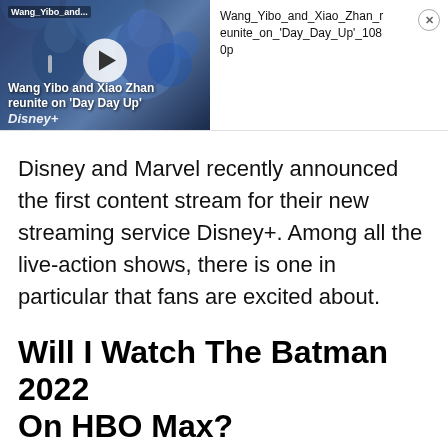[Figure (screenshot): Video thumbnail showing Wang Yibo and Xiao Zhan on stage, with play button overlay. Text overlays: 'Wang_Yibo_and...' at top, 'Wang Yibo and Xiao Zhan reunite on Day Day Up' at bottom. Beside it: filename 'Wang_Yibo_and_Xiao_Zhan_reunite_on_Day_Day_Up_1080p' with a close (X) button.]
Disney and Marvel recently announced the first content stream for their new streaming service Disney+. Among all the live-action shows, there is one in particular that fans are excited about.
Will I Watch The Batman 2022 On HBO Max?